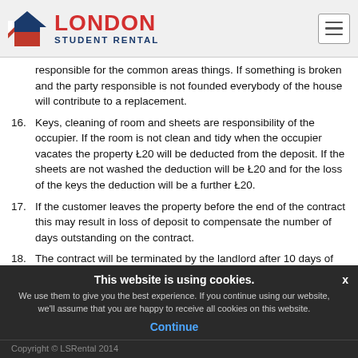LONDON STUDENT RENTAL
responsible for the common areas things. If something is broken and the party responsible is not founded everybody of the house will contribute to a replacement.
16. Keys, cleaning of room and sheets are responsibility of the occupier. If the room is not clean and tidy when the occupier vacates the property Ł20 will be deducted from the deposit. If the sheets are not washed the deduction will be Ł20 and for the loss of the keys the deduction will be a further Ł20.
17. If the customer leaves the property before the end of the contract this may result in loss of deposit to compensate the number of days outstanding on the contract.
18. The contract will be terminated by the landlord after 10 days of arrears payments or if there are any breach on the Company’s rules.
This website is using cookies. We use them to give you the best experience. If you continue using our website, we'll assume that you are happy to receive all cookies on this website. Continue
Copyright © LSRental 2014